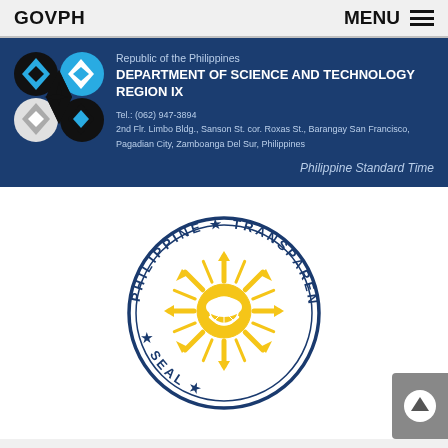GOVPH
MENU
[Figure (logo): DOST Region IX logo with black and cyan geometric pattern]
Republic of the Philippines
DEPARTMENT OF SCIENCE AND TECHNOLOGY REGION IX
Tel.: (062) 947-3894
2nd Flr. Limbo Bldg., Sanson St. cor. Roxas St., Barangay San Francisco, Pagadian City, Zamboanga Del Sur, Philippines
Philippine Standard Time
[Figure (logo): Philippine Transparency Seal - circular seal with golden sun and stars on white background with navy blue border text reading PHILIPPINE TRANSPARENCY SEAL]